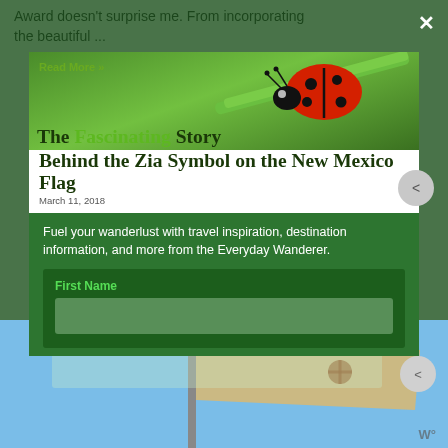Award doesn't surprise me. From incorporating the beautiful ...
[Figure (screenshot): A modal newsletter popup overlaying a travel blog page. The modal contains a newsletter signup form with fields for First Name and Email, overlaid on top of an article card featuring a ladybug photo and title 'The Fascinating Story Behind the Zia Symbol on the New Mexico Flag'. A green close button X is in the top right.]
Read More »
The Fascinating Story Behind the Zia Symbol on the New Mexico Flag
Fuel your wanderlust with travel inspiration, destination information, and more from the Everyday Wanderer.
First Name
Email